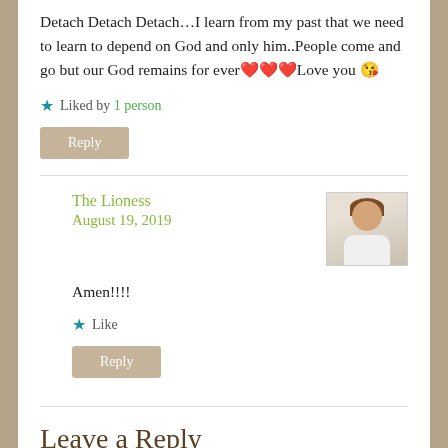Detach Detach Detach…I learn from my past that we need to learn to depend on God and only him..People come and go but our God remains for ever❤❤❤Love you 😘
★ Liked by 1 person
Reply
The Lioness
August 19, 2019
Amen!!!!
★ Like
Reply
Leave a Reply